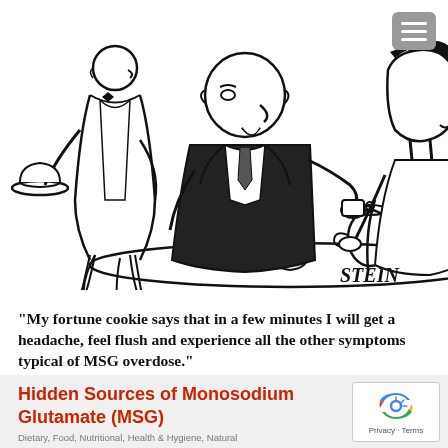[Figure (illustration): A black-and-white cartoon by 'STEIN' showing three people in a restaurant: a waiter standing on the left holding a covered dish, a heavyset man seated at a table holding a small cup, and a woman seated across from him. They appear to be dining. The artist's signature 'STEIN' appears in the lower right of the illustration.]
"My fortune cookie says that in a few minutes I will get a headache, feel flush and experience all the other symptoms typical of MSG overdose."
Hidden Sources of Monosodium Glutamate (MSG)
Dietary, Food, Nutritional, Health & Hygiene, Natural